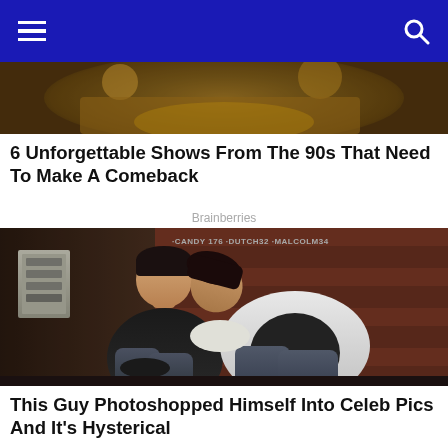Navigation bar with menu and search icons
[Figure (photo): Partial image of a person in golden/bronze armor costume, cropped at top]
6 Unforgettable Shows From The 90s That Need To Make A Comeback
Brainberries
[Figure (photo): Two men sitting against a brick wall. One man in black sweater sits upright looking at camera, another man in white shirt leans on his shoulder appearing asleep. Graffiti text reads CANDY 176, DUTCH32, MALCOLM34 on wall behind them.]
This Guy Photoshopped Himself Into Celeb Pics And It's Hysterical